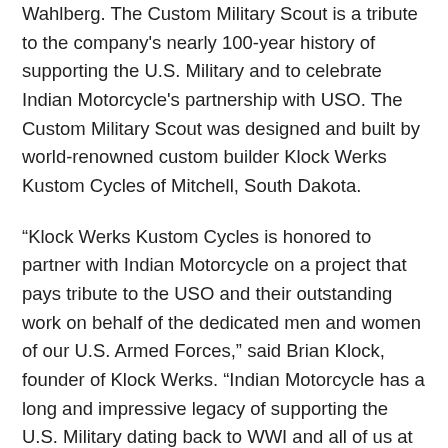Wahlberg. The Custom Military Scout is a tribute to the company's nearly 100-year history of supporting the U.S. Military and to celebrate Indian Motorcycle's partnership with USO. The Custom Military Scout was designed and built by world-renowned custom builder Klock Werks Kustom Cycles of Mitchell, South Dakota.
“Klock Werks Kustom Cycles is honored to partner with Indian Motorcycle on a project that pays tribute to the USO and their outstanding work on behalf of the dedicated men and women of our U.S. Armed Forces,” said Brian Klock, founder of Klock Werks. “Indian Motorcycle has a long and impressive legacy of supporting the U.S. Military dating back to WWI and all of us at Klock Werks are humbled to play a role in this important and historic endeavor.”
The Custom Military Scout is built on the award-winning 2015 Indian Scout platform, sporting a matte green paint indicative